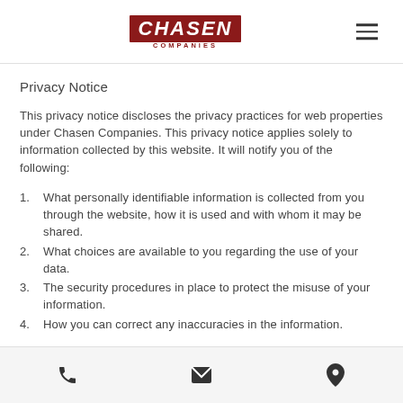CHASEN COMPANIES
Privacy Notice
This privacy notice discloses the privacy practices for web properties under Chasen Companies. This privacy notice applies solely to information collected by this website. It will notify you of the following:
1. What personally identifiable information is collected from you through the website, how it is used and with whom it may be shared.
2. What choices are available to you regarding the use of your data.
3. The security procedures in place to protect the misuse of your information.
4. How you can correct any inaccuracies in the information.
Phone | Email | Location